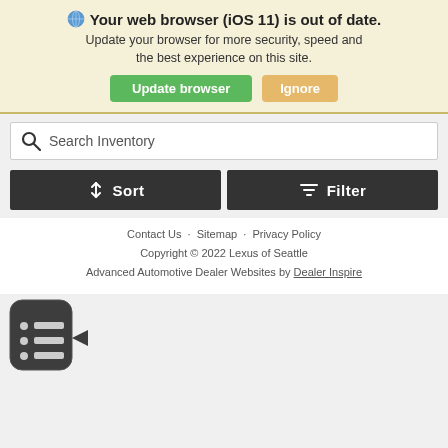Your web browser (iOS 11) is out of date.
Update your browser for more security, speed and the best experience on this site.
Update browser   Ignore
[Figure (screenshot): Search Inventory search bar]
[Figure (screenshot): Sort and Filter buttons]
Contact Us · Sitemap · Privacy Policy
Copyright © 2022 Lexus of Seattle
Advanced Automotive Dealer Websites by Dealer Inspire
[Figure (other): Dark rounded widget icon with list items]